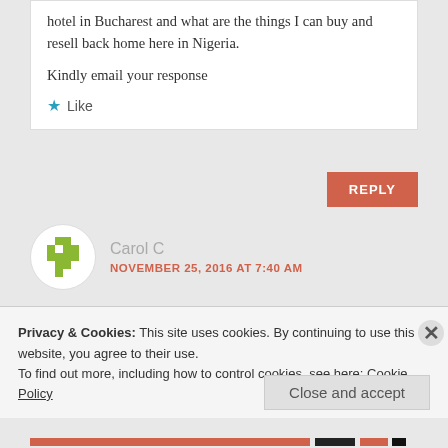hotel in Bucharest and what are the things I can buy and resell back home here in Nigeria.

Kindly email your response
★ Like
REPLY
Carol C
NOVEMBER 25, 2016 AT 7:40 AM
Privacy & Cookies: This site uses cookies. By continuing to use this website, you agree to their use.
To find out more, including how to control cookies, see here: Cookie Policy
Close and accept